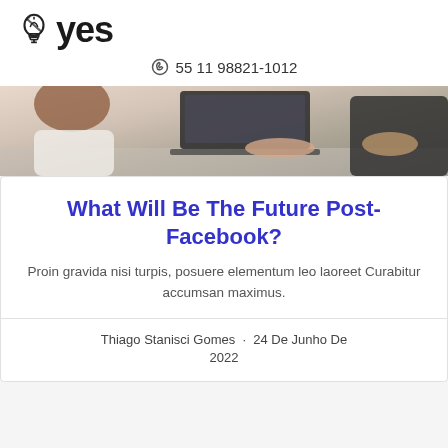[Figure (logo): Lightbulb icon with strikethrough style followed by bold text 'yes']
55 11 98821-1012
[Figure (photo): Photo of two people working at a laptop on a desk, cropped to show hands and partial figures]
What Will Be The Future Post-Facebook?
Proin gravida nisi turpis, posuere elementum leo laoreet Curabitur accumsan maximus.
Thiago Stanisci Gomes · 24 De Junho De 2022